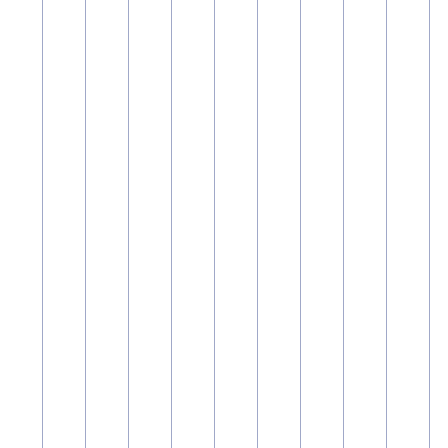TWiki application  upgrade  usab...
💡 Tip: In a WebHome of a web you ca...
<div class="tagmeTagCloud" style="l...
%TAGME{ tpaction="showalltags" forma...
</div>
List My Tags
TWiki.TagMeViewMyTags shows all tag...
Tag Search
TWiki.TagMeSearch shows a list of top...
Plugin Variable
The Plugin handles a %TAGME{}% variabl...
%TAGME{ tpaction="show" ...}%
| Parameter | Comment |
| --- | --- |